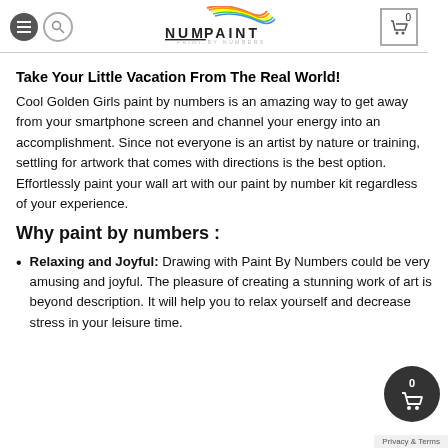NUM PAINT - PAINT BY NUMBERS
Take Your Little Vacation From The Real World!
Cool Golden Girls paint by numbers is an amazing way to get away from your smartphone screen and channel your energy into an accomplishment. Since not everyone is an artist by nature or training, settling for artwork that comes with directions is the best option. Effortlessly paint your wall art with our paint by number kit regardless of your experience.
Why paint by numbers :
Relaxing and Joyful: Drawing with Paint By Numbers could be very amusing and joyful. The pleasure of creating a stunning work of art is beyond description. It will help you to relax yourself and decrease stress in your leisure time.